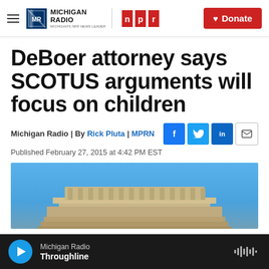Michigan Radio | NPR | Donate
DeBoer attorney says SCOTUS arguments will focus on children
Michigan Radio | By Rick Pluta | MPRN
Published February 27, 2015 at 4:42 PM EST
[Figure (photo): Photo of the top of a building (likely Supreme Court building) against a blue sky]
Michigan Radio | Throughline